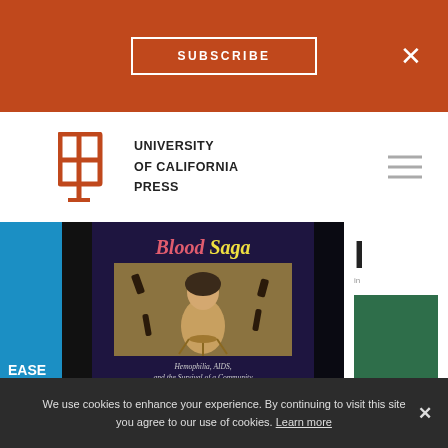SUBSCRIBE  ×
[Figure (logo): University of California Press logo — stylized open book mark in orange/rust color with text UNIVERSITY of CALIFORNIA PRESS]
[Figure (photo): Book carousel showing three book covers: partial left book with cyan/blue cover showing 'EASE UTOPIA SCHWARTZ', center book 'Blood Saga: Hemophilia, AIDS, and the Survival of a Community by Susan Resnik' on dark purple background with illustrated artwork, and partial right book on white background]
We use cookies to enhance your experience. By continuing to visit this site you agree to our use of cookies. Learn more